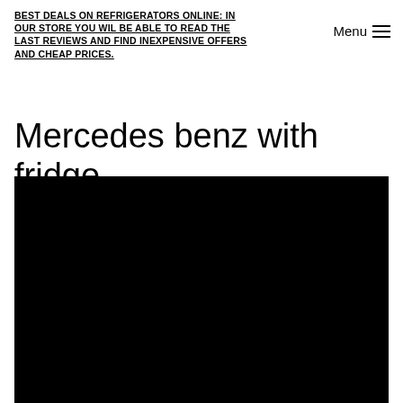BEST DEALS ON REFRIGERATORS ONLINE: IN OUR STORE YOU WIL BE ABLE TO READ THE LAST REVIEWS AND FIND INEXPENSIVE OFFERS AND CHEAP PRICES.
Menu ≡
Mercedes benz with fridge
[Figure (photo): A large black rectangle representing a video or image placeholder]